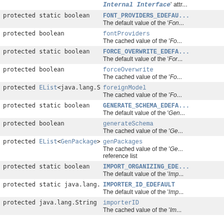| Modifier and Type | Field and Description |
| --- | --- |
|  | Internal Interface' attr... |
| protected static boolean | FONT_PROVIDERS_EDEFAU...
The default value of the 'Fon... |
| protected boolean | fontProviders
The cached value of the 'Fo... |
| protected static boolean | FORCE_OVERWRITE_EDEFA...
The default value of the 'For... |
| protected boolean | forceOverwrite
The cached value of the 'Fo... |
| protected EList<java.lang.String> | foreignModel
The cached value of the 'Fo... |
| protected static boolean | GENERATE_SCHEMA_EDEFA...
The default value of the 'Gen... |
| protected boolean | generateSchema
The cached value of the 'Ge... |
| protected EList<GenPackage> | genPackages
The cached value of the 'Ge... reference list |
| protected static boolean | IMPORT_ORGANIZING_EDE...
The default value of the 'Imp... |
| protected static java.lang.String | IMPORTER_ID_EDEFAULT
The default value of the 'Imp... |
| protected java.lang.String | importerID
The cached value of the 'Im... |